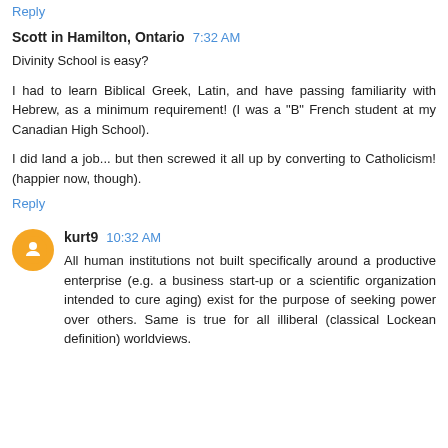Reply
Scott in Hamilton, Ontario  7:32 AM
Divinity School is easy?

I had to learn Biblical Greek, Latin, and have passing familiarity with Hebrew, as a minimum requirement! (I was a "B" French student at my Canadian High School).

I did land a job... but then screwed it all up by converting to Catholicism! (happier now, though).
Reply
kurt9  10:32 AM
All human institutions not built specifically around a productive enterprise (e.g. a business start-up or a scientific organization intended to cure aging) exist for the purpose of seeking power over others. Same is true for all illiberal (classical Lockean definition) worldviews.